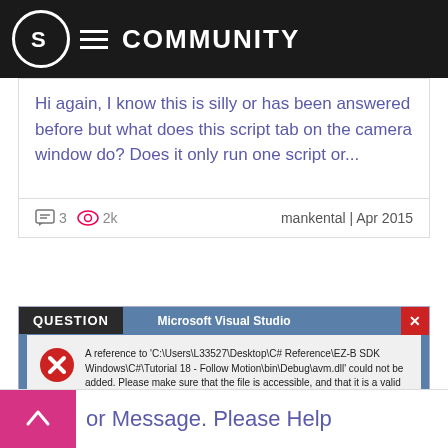S COMMUNITY
Hi again, I know this is silly or has been answered before but what does this script tab on the camera window do? Does it only run one script or...
3  2k  mankental | Apr 2015
[Figure (screenshot): QUESTION label over a Microsoft Visual Studio error dialog screenshot. The dialog shows a red X error icon with text: A reference to 'C:\Users\L33527\Desktop\C# Reference\EZ-B SDK Windows\C#\Tutorial 18 - Follow Motion\bin\Debug\avm.dll' could not be added. Please make sure that the file is accessible, and that it is a valid assembly or COM component. With an OK button at the bottom right.]
or Message. Please Help